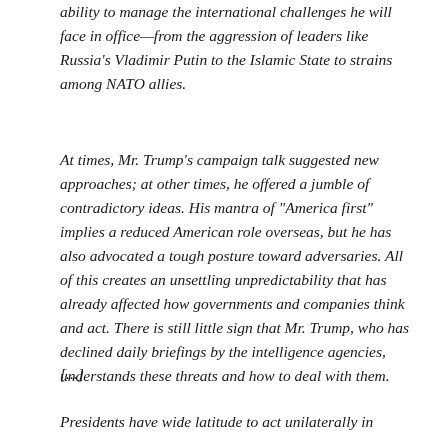ability to manage the international challenges he will face in office—from the aggression of leaders like Russia's Vladimir Putin to the Islamic State to strains among NATO allies.
At times, Mr. Trump's campaign talk suggested new approaches; at other times, he offered a jumble of contradictory ideas. His mantra of "America first" implies a reduced American role overseas, but he has also advocated a tough posture toward adversaries. All of this creates an unsettling unpredictability that has already affected how governments and companies think and act. There is still little sign that Mr. Trump, who has declined daily briefings by the intelligence agencies, understands these threats and how to deal with them.
[...]
Presidents have wide latitude to act unilaterally in